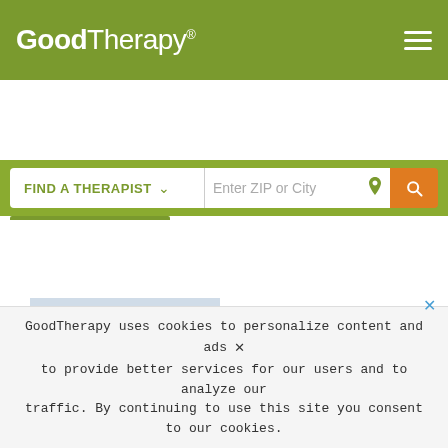GoodTherapy®
[Figure (screenshot): GoodTherapy website screenshot with search bar showing FIND A THERAPIST dropdown and Enter ZIP or City input]
[Figure (photo): Advertisement banner: Woman with glasses smiling, with text Learn. Teach. Grow. Inspire. GoodTherapy]
GoodTherapy uses cookies to personalize content and ads to provide better services for our users and to analyze our traffic. By continuing to use this site you consent to our cookies.